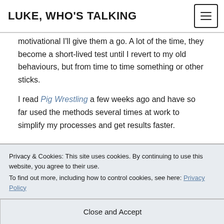LUKE, WHO'S TALKING
motivational I'll give them a go. A lot of the time, they become a short-lived test until I revert to my old behaviours, but from time to time something or other sticks.
I read Pig Wrestling a few weeks ago and have so far used the methods several times at work to simplify my processes and get results faster.
Privacy & Cookies: This site uses cookies. By continuing to use this website, you agree to their use.
To find out more, including how to control cookies, see here: Privacy Policy
Close and Accept
like that one, meaning the principles are easy to